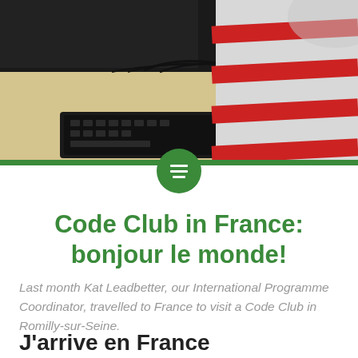[Figure (photo): A person in a red and white striped shirt sitting at a desk with a computer keyboard and monitor visible from behind, in what appears to be a classroom or computer lab setting.]
Code Club in France: bonjour le monde!
Last month Kat Leadbetter, our International Programme Coordinator, travelled to France to visit a Code Club in Romilly-sur-Seine.
J'arrive en France